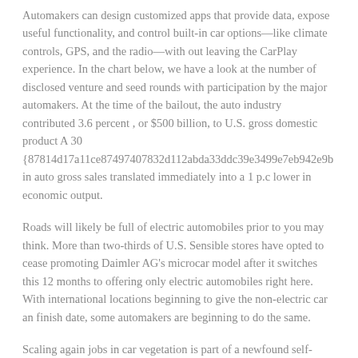Automakers can design customized apps that provide data, expose useful functionality, and control built-in car options—like climate controls, GPS, and the radio—with out leaving the CarPlay experience. In the chart below, we have a look at the number of disclosed venture and seed rounds with participation by the major automakers. At the time of the bailout, the auto industry contributed 3.6 percent , or $500 billion, to U.S. gross domestic product A 30 {87814d17a11ce87497407832d112abda33ddc39e3499e7eb942e9b in auto gross sales translated immediately into a 1 p.c lower in economic output.
Roads will likely be full of electric automobiles prior to you may think. More than two-thirds of U.S. Sensible stores have opted to cease promoting Daimler AG's microcar model after it switches this 12 months to offering only electric automobiles right here. With international locations beginning to give the non-electric car an finish date, some automakers are beginning to do the same.
Scaling again jobs in car vegetation is part of a newfound self-discipline among automakers to avoid bloated payrolls and inventories when sales begin slipping. A number of automakers